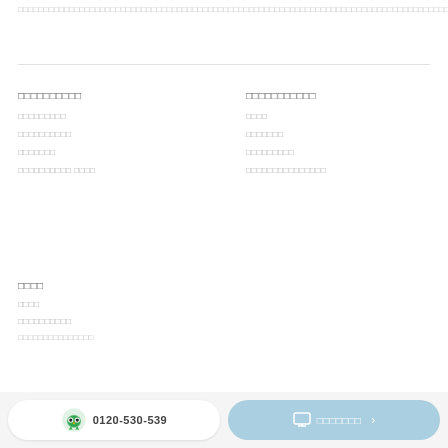□□□□□□□□□□□□□□□□□□□□□□□□□□□□□□□□□□□□□□□□□□□□□□□□□□□□□□□□□□□□□□□□□□□□□□□□□□□□□□□□□□□□□□□□□□□
□□□□□□□□□□
□□□□□□□□□□□
□□□□□□□□□
□□□□
□□□□□□□□□□
□□□□□□□
□□□□□□□
□□□□□□□□□
□□□□□□□□□□ □□□□
□□□□□□□□□□□□□□□
□□□□
□□□□
□□□□□□□□□□
□□□□□□□□□□□□□□□
□□□□□□□□□□□□□□□□
0120-530-539
□□□□□□□